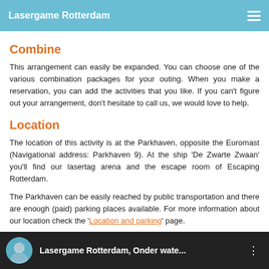Lasergame Rotterdam
Combine
This arrangement can easily be expanded. You can choose one of the various combination packages for your outing. When you make a reservation, you can add the activities that you like. If you can't figure out your arrangement, don't hesitate to call us, we would love to help.
Location
The location of this activity is at the Parkhaven, opposite the Euromast (Navigational address: Parkhaven 9). At the ship ‘De Zwarte Zwaan’ you’ll find our lasertag arena and the escape room of Escaping Rotterdam.
The Parkhaven can be easily reached by public transportation and there are enough (paid) parking places available. For more information about our location check the ‘Location and parking’ page.
[Figure (screenshot): Video thumbnail showing a person with text 'Lasergame Rotterdam, Onder wate...' on dark background with three-dot menu icon]